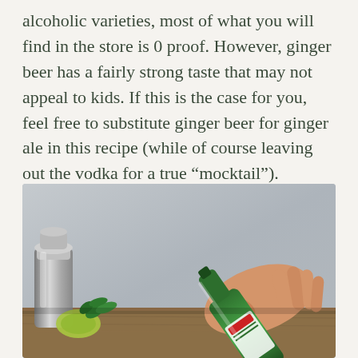alcoholic varieties, most of what you will find in the store is 0 proof. However, ginger beer has a fairly strong taste that may not appeal to kids. If this is the case for you, feel free to substitute ginger beer for ginger ale in this recipe (while of course leaving out the vodka for a true “mocktail”).
[Figure (photo): A hand pouring from a green ginger beer bottle on a wooden surface, with a silver cocktail shaker and fresh herbs/limes in the background, against a grey concrete wall.]